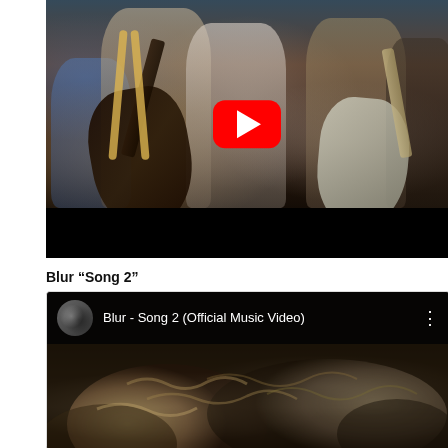[Figure (screenshot): YouTube video embed showing a band performing live, with musicians playing guitars. A red YouTube play button overlay is visible in the upper portion of the video. The bottom of the frame shows a black bar.]
Blur “Song 2”
[Figure (screenshot): YouTube video embed showing 'Blur - Song 2 (Official Music Video)' with a circular band avatar/thumbnail on the left, the video title in white text, and a three-dot menu icon on the right. The video content shows a dark crowd scene.]